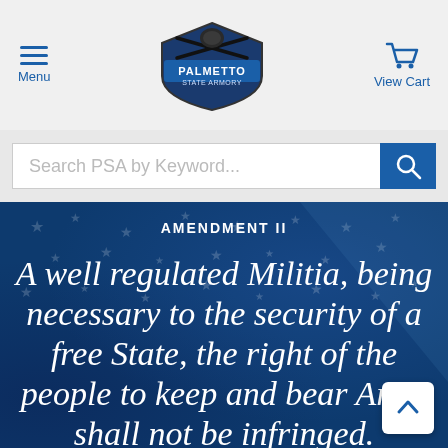Menu | Palmetto State Armory | View Cart
[Figure (screenshot): Palmetto State Armory website header with hamburger menu, logo, and cart icon on a light gray background, followed by a search bar reading 'Search PSA by Keyword...' and a blue search button. Below is a dark blue hero section with an American flag background overlay displaying 'AMENDMENT II' and the Second Amendment text in italic white font: 'A well regulated Militia, being necessary to the security of a free State, the right of the people to keep and bear Arms shall not be infringed.']